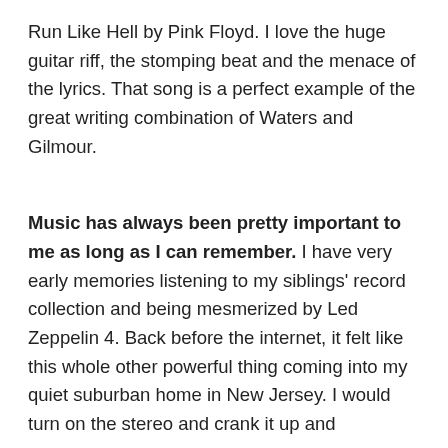Run Like Hell by Pink Floyd. I love the huge guitar riff, the stomping beat and the menace of the lyrics. That song is a perfect example of the great writing combination of Waters and Gilmour.
Music has always been pretty important to me as long as I can remember. I have very early memories listening to my siblings' record collection and being mesmerized by Led Zeppelin 4. Back before the internet, it felt like this whole other powerful thing coming into my quiet suburban home in New Jersey. I would turn on the stereo and crank it up and